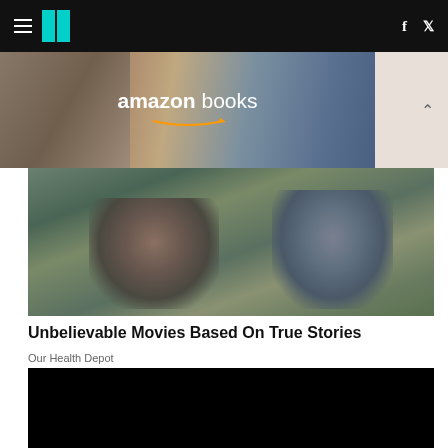HuffPost navigation with hamburger menu, logo, Facebook and Twitter icons
[Figure (photo): Amazon Books advertisement banner showing a person reading a book]
[Figure (photo): Two men sitting against a haystack outdoors, movie still]
Unbelievable Movies Based On True Stories
Our Health Depot
[Figure (infographic): Black background infographic with yellow text asking WHY ARE THERE RED AND GREEN LIGHTS? with airplane illustration and colored lights]